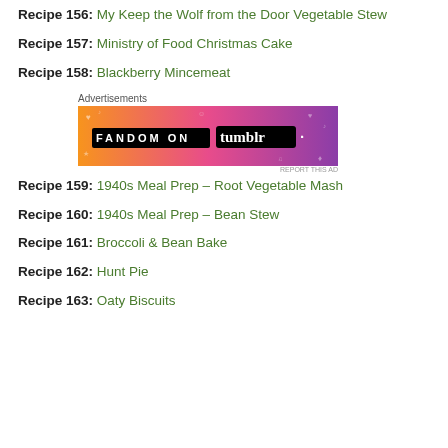Recipe 156: My Keep the Wolf from the Door Vegetable Stew
Recipe 157: Ministry of Food Christmas Cake
Recipe 158: Blackberry Mincemeat
Advertisements
[Figure (illustration): Tumblr Fandom advertisement banner with orange to purple gradient background and white text reading FANDOM ON tumblr with decorative icons]
Recipe 159: 1940s Meal Prep – Root Vegetable Mash
Recipe 160: 1940s Meal Prep – Bean Stew
Recipe 161: Broccoli & Bean Bake
Recipe 162: Hunt Pie
Recipe 163: Oaty Biscuits